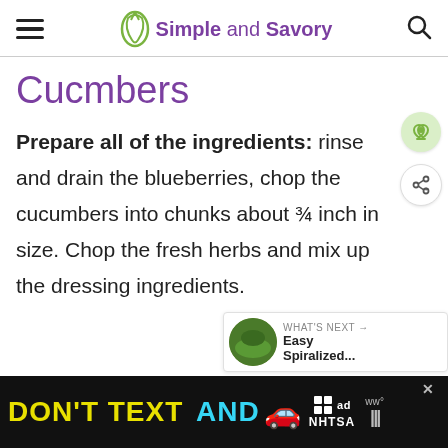Simple and Savory
Cucmbers
Prepare all of the ingredients: rinse and drain the blueberries, chop the cucumbers into chunks about ¾ inch in size. Chop the fresh herbs and mix up the dressing ingredients.
[Figure (screenshot): Advertisement banner: DON'T TEXT AND [car emoji] with NHTSA branding on dark background]